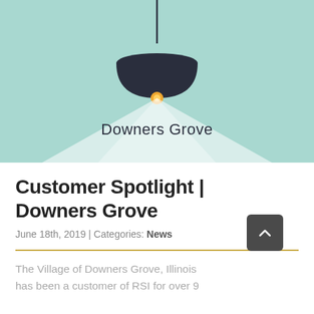[Figure (illustration): Illustration of a hanging pendant lamp on a teal/mint background, casting a triangular spotlight beam downward. The text 'Downers Grove' appears inside the light beam.]
Customer Spotlight | Downers Grove
June 18th, 2019 | Categories: News
The Village of Downers Grove, Illinois has been a customer of RSI for over 9